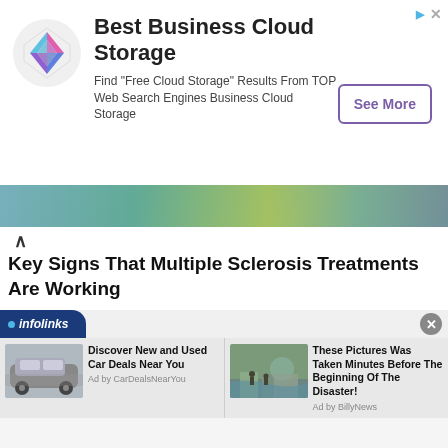[Figure (other): Advertisement banner: Best Business Cloud Storage with colorful diamond logo and See More button]
[Figure (photo): Partial image strip showing outdoor scene, likely related to Multiple Sclerosis article]
Key Signs That Multiple Sclerosis Treatments Are Working
Raquel Welch Body Stats
Raquel Welch Dating History
Comments
[Figure (other): Infolinks ad section with two ad cards: 'Discover New and Used Car Deals Near You' by CarDealsNearYou, and 'These Pictures Was Taken Minutes Before The Beginning Of The Disaster!' by BillyNews]